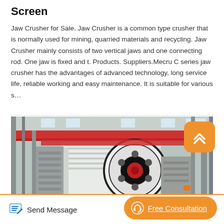Screen
Jaw Crusher for Sale. Jaw Crusher is a common type crusher that is normally used for mining, quarried materials and recycling. Jaw Crusher mainly consists of two vertical jaws and one connecting rod. One jaw is fixed and t. Products. Suppliers.Mecru C series jaw crusher has the advantages of advanced technology, long service life, reliable working and easy maintenance. It is suitable for various s…
[Figure (photo): Industrial jaw crusher machinery in a factory setting, showing large red and white mechanical components including a flywheel/pulley, structural steel frames, and conveyor equipment.]
Send Message
Free Consultation